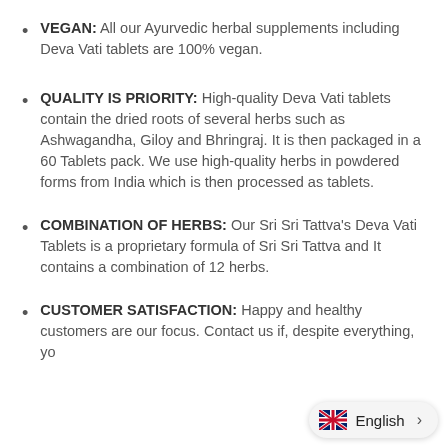VEGAN: All our Ayurvedic herbal supplements including Deva Vati tablets are 100% vegan.
QUALITY IS PRIORITY: High-quality Deva Vati tablets contain the dried roots of several herbs such as Ashwagandha, Giloy and Bhringraj. It is then packaged in a 60 Tablets pack. We use high-quality herbs in powdered forms from India which is then processed as tablets.
COMBINATION OF HERBS: Our Sri Sri Tattva's Deva Vati Tablets is a proprietary formula of Sri Sri Tattva and It contains a combination of 12 herbs.
CUSTOMER SATISFACTION: Happy and healthy customers are our focus. Contact us if, despite everything, yo...